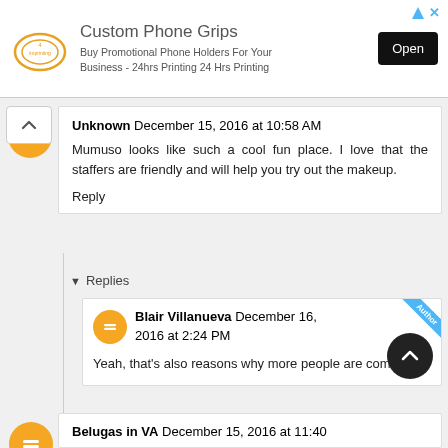[Figure (other): Advertisement banner for Custom Phone Grips by 4imprinting with Open button]
Unknown December 15, 2016 at 10:58 AM
Mumuso looks like such a cool fun place. I love that the staffers are friendly and will help you try out the makeup.
Reply
Replies
Blair Villanueva December 16, 2016 at 2:24 PM
Yeah, that's also reasons why more people are coming :)
Belugas in VA December 15, 2016 at 11:40